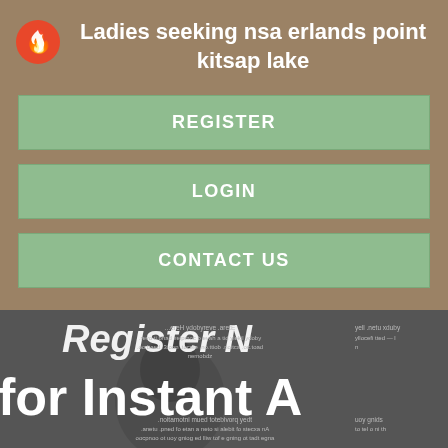Ladies seeking nsa erlands point kitsap lake
REGISTER
LOGIN
CONTACT US
[Figure (screenshot): Bottom portion shows a dark gray background with white bold text reading 'Register N...' and 'for Instant A...' with small mirrored/reversed body text visible around it, suggesting a registration promotion image partially visible.]